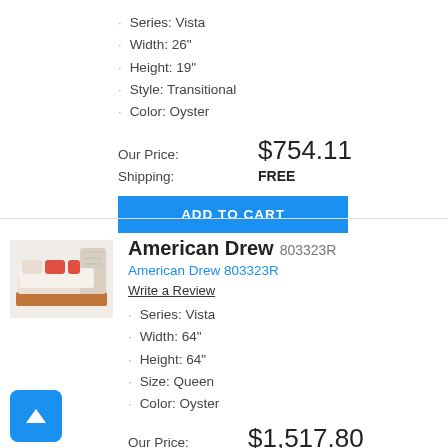Series: Vista
Width: 26"
Height: 19"
Style: Transitional
Color: Oyster
Our Price: $754.11
Shipping: FREE
ADD TO CART
[Figure (photo): Bed with upholstered headboard, white bedding, orange accent pillows]
American Drew 803323R
American Drew 803323R
Write a Review
Series: Vista
Width: 64"
Height: 64"
Size: Queen
Color: Oyster
Our Price: $1,517.80
Shipping: FREE